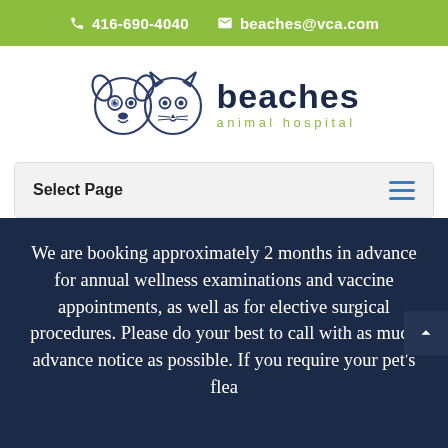416-690-4040   beaches@vca.com
[Figure (logo): Beaches Animal Hospital logo with two cartoon animal faces (dog and cat) and text 'beaches animal hospital']
Select Page
We are booking approximately 2 months in advance for annual wellness examinations and vaccine appointments, as well as for elective surgical procedures. Please do your best to call with as much advance notice as possible. If you require your pet's flea